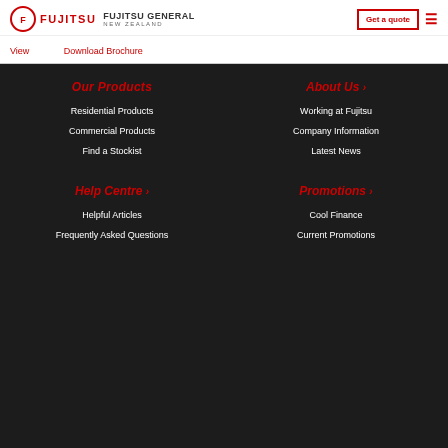Fujitsu General New Zealand - Logo and navigation header
View   Download Brochure
Our Products
Residential Products
Commercial Products
Find a Stockist
About Us
Working at Fujitsu
Company Information
Latest News
Help Centre
Helpful Articles
Frequently Asked Questions
Promotions
Cool Finance
Current Promotions